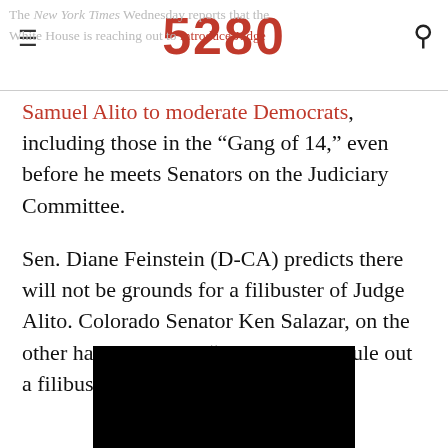The New York Times Wednesday reports that the White House is reaching out to introduce Judge Samuel Alito to moderate Democrats
Samuel Alito to moderate Democrats, including those in the “Gang of 14,” even before he meets Senators on the Judiciary Committee.
Sen. Diane Feinstein (D-CA) predicts there will not be grounds for a filibuster of Judge Alito. Colorado Senator Ken Salazar, on the other hand, says it is “premature” to rule out a filibuster:
[Figure (photo): Black rectangle, likely a video embed placeholder]